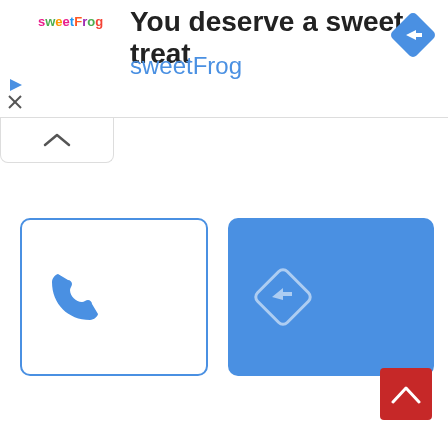[Figure (screenshot): SweetFrog advertisement banner with logo, title 'You deserve a sweet treat' and brand name 'sweetFrog', with a direction/navigation diamond icon on the right]
[Figure (other): Collapse/minimize tab with upward chevron arrow]
[Figure (other): Call button - white rectangle with blue border containing a blue phone icon]
[Figure (other): Directions button - solid blue rectangle with a lighter blue diamond directions icon]
[Figure (other): Red scroll-to-top button with white upward chevron in bottom right corner]